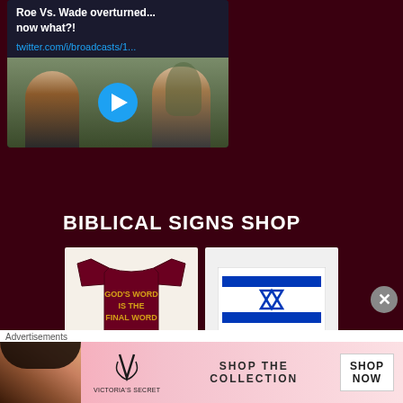[Figure (screenshot): Twitter/X broadcast embed card showing text 'Roe Vs. Wade overturned... now what?!' with a link twitter.com/i/broadcasts/1... and a thumbnail image of two men outdoors with a blue play button overlay]
BIBLICAL SIGNS SHOP
[Figure (photo): Dark maroon t-shirt from behind showing yellow text 'GOD'S WORD IS THE FINAL WORD']
[Figure (illustration): Israel flag with two blue horizontal stripes and Star of David on white background]
Advertisements
[Figure (screenshot): Victoria's Secret advertisement banner showing a model, VS logo, text 'SHOP THE COLLECTION' and a 'SHOP NOW' button]